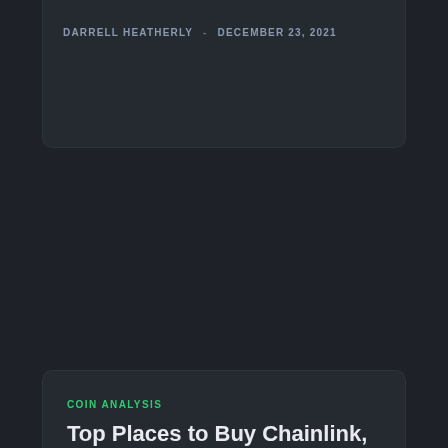DARRELL HEATHERLY · DECEMBER 23, 2021
COIN ANALYSIS
Top Places to Buy Chainlink, the